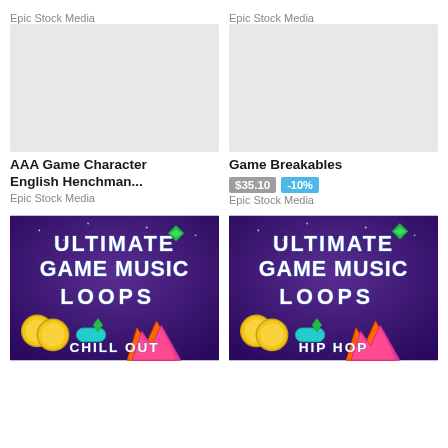Epic Stock Media
Epic Stock Media
[Figure (other): Blank gray placeholder thumbnail]
[Figure (other): Blank gray placeholder thumbnail]
AAA Game Character English Henchman...
Epic Stock Media
Game Breakables
$35.10  -10%
Epic Stock Media
[Figure (illustration): Ultimate Game Music Loops - Chill Out album art with purple background, large bold text, gems, coins, crowns]
[Figure (illustration): Ultimate Game Music Loops - Hip Hop album art with purple background, large bold text, gems, coins, crowns]